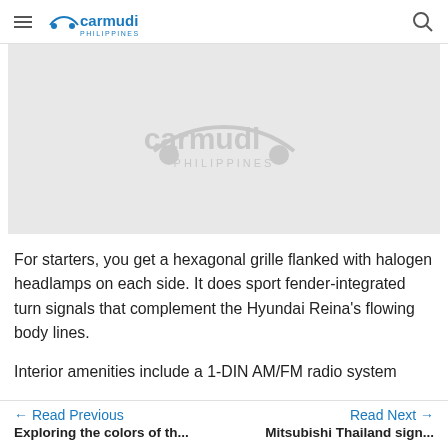carmudi PHILIPPINES
[Figure (logo): Carmudi Philippines logo placeholder image — grey background with white carmudi PHILIPPINES logo centered]
For starters, you get a hexagonal grille flanked with halogen headlamps on each side. It does sport fender-integrated turn signals that complement the Hyundai Reina's flowing body lines.
Interior amenities include a 1-DIN AM/FM radio system
← Read Previous   Read Next →
Exploring the colors of th...   Mitsubishi Thailand sign...